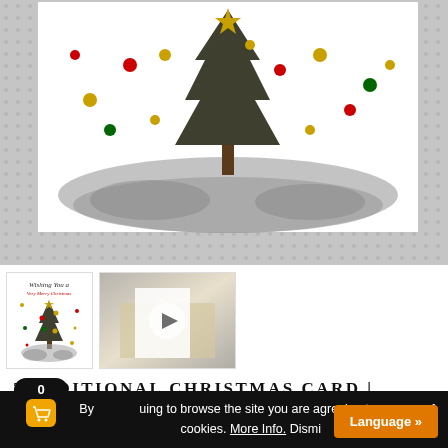[Figure (photo): Product listing page for a Traditional Christmas Card. Top area shows a main product image of a Christmas tree card on a dotted background. Below are two thumbnails: one showing the card design with 'Wishing You a Very Merry Christmas' text, and one showing a video thumbnail. Below the images is the product title and a cookie consent bar with a cart icon and language button.]
TRADITIONAL CHRISTMAS CARD | Classic Card | Illustrated Card | Watercolour
By continuing to browse the site you are agreeing to our use of cookies. More Info. Dismiss
Language »